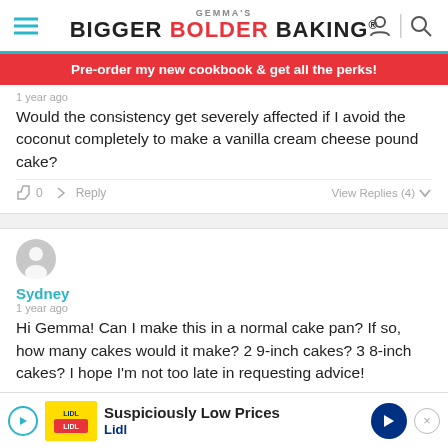GEMMA'S BIGGER BOLDER BAKING®
Pre-order my new cookbook & get all the perks!
1 year ago
Would the consistency get severely affected if I avoid the coconut completely to make a vanilla cream cheese pound cake?
0  Reply  View Replies (4)
[Figure (illustration): User avatar placeholder circle with person silhouette icon]
Sydney
1 year ago
Hi Gemma! Can I make this in a normal cake pan? If so, how many cakes would it make? 2 9-inch cakes? 3 8-inch cakes? I hope I'm not too late in requesting advice!
Suspiciously Low Prices — Lidl (advertisement)